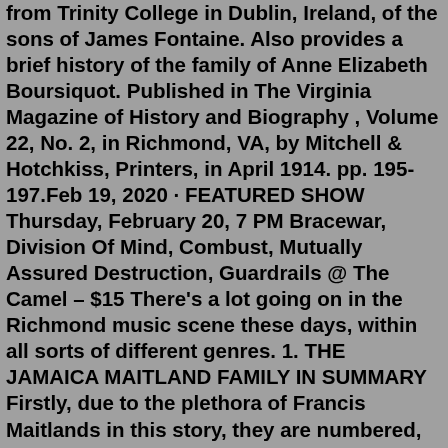from Trinity College in Dublin, Ireland, of the sons of James Fontaine. Also provides a brief history of the family of Anne Elizabeth Boursiquot. Published in The Virginia Magazine of History and Biography , Volume 22, No. 2, in Richmond, VA, by Mitchell & Hotchkiss, Printers, in April 1914. pp. 195-197.Feb 19, 2020 · FEATURED SHOW Thursday, February 20, 7 PM Bracewar, Division Of Mind, Combust, Mutually Assured Destruction, Guardrails @ The Camel – $15 There's a lot going on in the Richmond music scene these days, within all sorts of different genres. 1. THE JAMAICA MAITLAND FAMILY IN SUMMARY Firstly, due to the plethora of Francis Maitlands in this story, they are numbered, 1-3 (and 2 more in later generations! From the perspective of the descendants of my great grandfather, Francis Maitland 3 (baptised 1836 in London), nothing was known in our branch about the Jamaica connection until, by a lucky chance, I, Antony Maitland established the ...Discography Emeline STRUT Critic Score NR User Score NR Details Submit Correction August 19, 2022 /